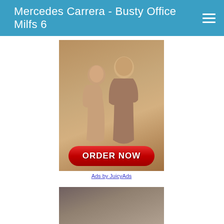Mercedes Carrera - Busty Office Milfs 6
[Figure (photo): Advertisement image showing two people in an intimate pose with a red ORDER NOW button at the bottom]
Ads by JuicyAds
[Figure (photo): Partial image of a person, cropped at bottom of page]